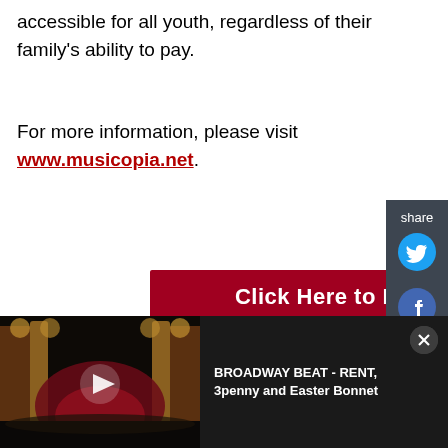accessible for all youth, regardless of their family's ability to pay.
For more information, please visit www.musicopia.net.
[Figure (other): Red button: Click Here to Buy Tickets]
Join Team BroadwayWorld
Are you an avid Cabaret fan in NYC? We're looking for people like you to share your thoughts and insights with our readers. Team BroadwayWorld members get access to
[Figure (screenshot): Video thumbnail of a Broadway theater interior with red curtains, dark stage lighting. Overlay bar shows: BROADWAY BEAT - RENT, 3penny and Easter Bonnet with a close button.]